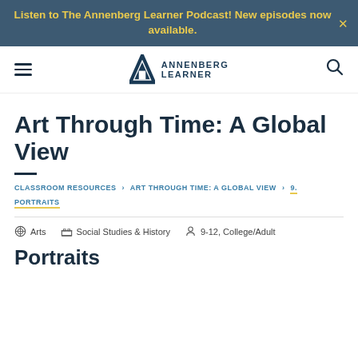Listen to The Annenberg Learner Podcast! New episodes now available.
[Figure (logo): Annenberg Learner logo with stylized A triangle and text ANNENBERG LEARNER]
Art Through Time: A Global View
CLASSROOM RESOURCES > ART THROUGH TIME: A GLOBAL VIEW > 9. PORTRAITS
Arts   Social Studies & History   9-12, College/Adult
Portraits